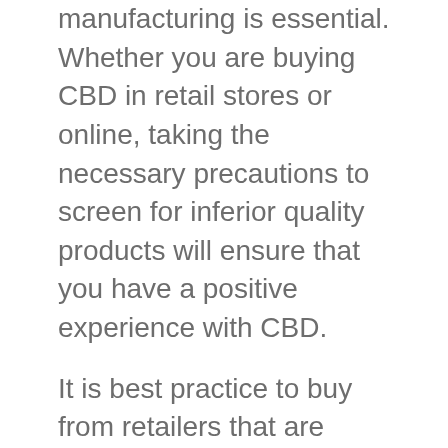manufacturing is essential. Whether you are buying CBD in retail stores or online, taking the necessary precautions to screen for inferior quality products will ensure that you have a positive experience with CBD.
It is best practice to buy from retailers that are transparent about where their CBD production occurs. Ideally, the source of CBD products will come from organic hemp plants grown locally in your country of residence. Additionally, looking at the extraction methods of the plants can be useful. When the CBD molecules extract from the hemp plant, there are several ways to accomplish the end goal. Some methods of extraction use harsh chemicals that are not ideal for consumption. Extraction methods which are generally trustworthy include techniques such as extraction via carbon dioxide. Lastly, you want to ensure that the retailer you are purchasing from is transparent about its products' lab testing. Post-extraction testing of CBD products for purity, quality, and potency is a must when it comes to standard